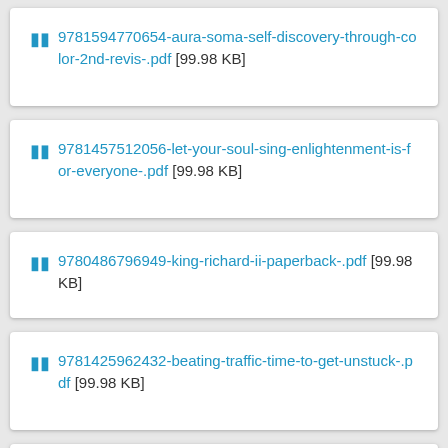9781594770654-aura-soma-self-discovery-through-color-2nd-revis-.pdf [99.98 KB]
9781457512056-let-your-soul-sing-enlightenment-is-for-everyone-.pdf [99.98 KB]
9780486796949-king-richard-ii-paperback-.pdf [99.98 KB]
9781425962432-beating-traffic-time-to-get-unstuck-.pdf [99.98 KB]
[partial item visible]